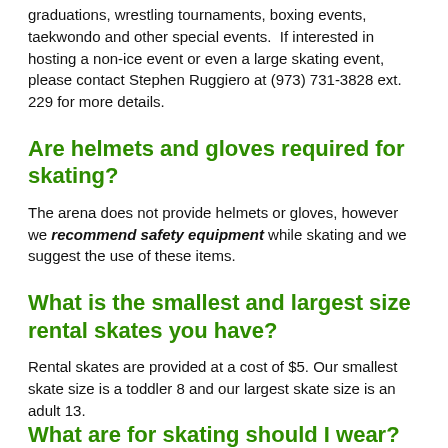graduations, wrestling tournaments, boxing events, taekwondo and other special events.  If interested in hosting a non-ice event or even a large skating event, please contact Stephen Ruggiero at (973) 731-3828 ext. 229 for more details.
Are helmets and gloves required for skating?
The arena does not provide helmets or gloves, however we recommend safety equipment while skating and we suggest the use of these items.
What is the smallest and largest size rental skates you have?
Rental skates are provided at a cost of $5. Our smallest skate size is a toddler 8 and our largest skate size is an adult 13.
What are for skating should I wear?